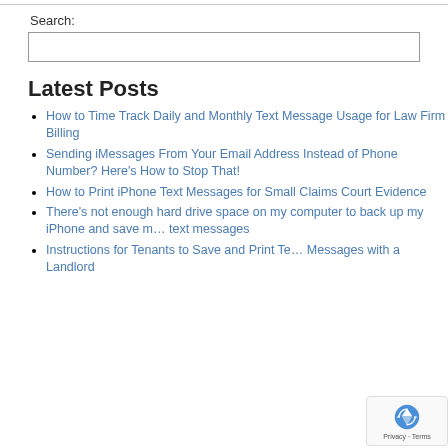Search:
Latest Posts
How to Time Track Daily and Monthly Text Message Usage for Law Firm Billing
Sending iMessages From Your Email Address Instead of Phone Number? Here's How to Stop That!
How to Print iPhone Text Messages for Small Claims Court Evidence
There's not enough hard drive space on my computer to back up my iPhone and save my text messages
Instructions for Tenants to Save and Print Text Messages with a Landlord